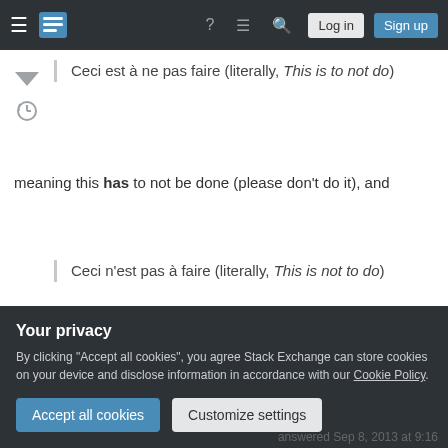Stack Exchange navigation bar with Log in and Sign up buttons
Ceci est à ne pas faire (literally, This is to not do)
meaning this has to not be done (please don't do it), and
Ceci n'est pas à faire (literally, This is not to do)
meaning this is not needed (but could eventually, if
Your privacy
By clicking "Accept all cookies", you agree Stack Exchange can store cookies on your device and disclose information in accordance with our Cookie Policy.
Accept all cookies  Customize settings
answered Sep 8, 2013 at 9:16